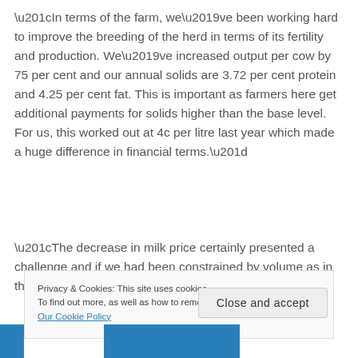“In terms of the farm, we’ve been working hard to improve the breeding of the herd in terms of its fertility and production. We’ve increased output per cow by 75 per cent and our annual solids are 3.72 per cent protein and 4.25 per cent fat. This is important as farmers here get additional payments for solids higher than the base level. For us, this worked out at 4c per litre last year which made a huge difference in financial terms.”
“The decrease in milk price certainly presented a challenge and if we had been constrained by volume as in the quota
Privacy & Cookies: This site uses cookies.
To find out more, as well as how to remove or block these, see here: Our Cookie Policy
Close and accept